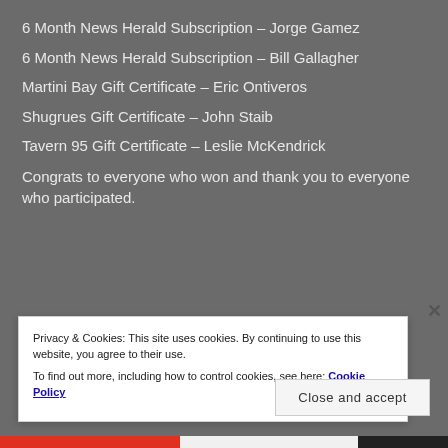6 Month News Herald Subscription – Jorge Gamez
6 Month News Herald Subscription – Bill Gallagher
Martini Bay Gift Certificate – Eric Ontiveros
Shugrues Gift Certificate – John Staib
Tavern 95 Gift Certificate – Leslie McKendrick
Congrats to everyone who won and thank you to everyone who participated.
Privacy & Cookies: This site uses cookies. By continuing to use this website, you agree to their use.
To find out more, including how to control cookies, see here: Cookie Policy
Close and accept